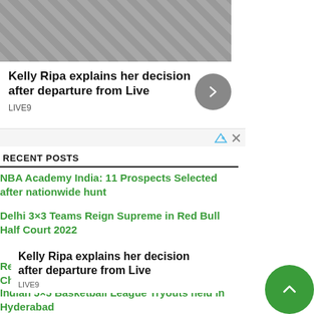[Figure (photo): Partial photo of a person with blonde hair against a geometric patterned background]
Kelly Ripa explains her decision after departure from Live
LIVE9
RECENT POSTS
NBA Academy India: 11 Prospects Selected after nationwide hunt
Delhi 3×3 Teams Reign Supreme in Red Bull Half Court 2022
Red Bull Half Court 2022: National Finals in Chandigarh on 17th June
Kelly Ripa explains her decision after departure from Live
LIVE9
Indian 5×5 Basketball League Tryouts held in Hyderabad